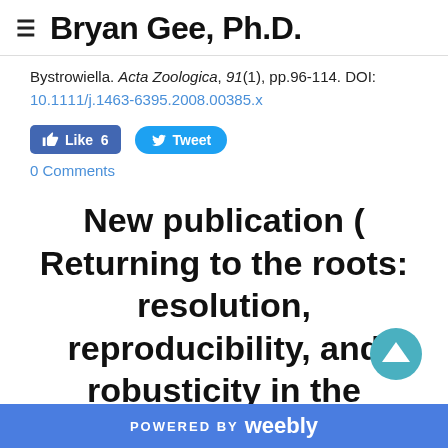Bryan Gee, Ph.D.
Bystrowiella. Acta Zoologica, 91(1), pp.96-114. DOI: 10.1111/j.1463-6395.2008.00385.x
[Figure (other): Facebook Like button showing 6 likes and Twitter Tweet button]
0 Comments
New publication ( Returning to the roots: resolution, reproducibility, and robusticity in the
POWERED BY weebly